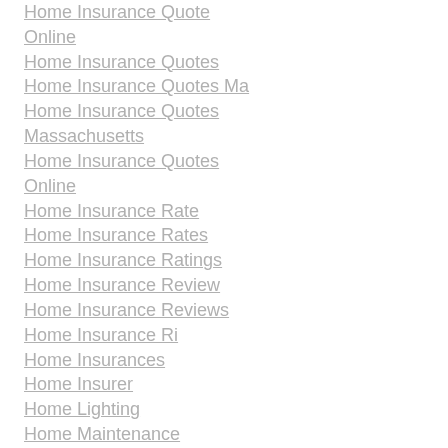Home Insurance Quote Online
Home Insurance Quotes
Home Insurance Quotes Ma
Home Insurance Quotes Massachusetts
Home Insurance Quotes Online
Home Insurance Rate
Home Insurance Rates
Home Insurance Ratings
Home Insurance Review
Home Insurance Reviews
Home Insurance Ri
Home Insurances
Home Insurer
Home Lighting
Home Maintenance Insurance